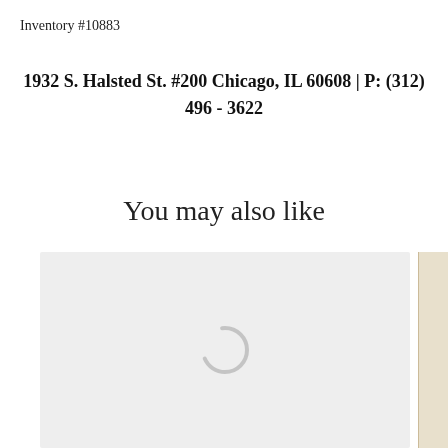Inventory #10883
1932 S. Halsted St. #200 Chicago, IL 60608 | P: (312) 496 - 3622
You may also like
[Figure (other): Loading placeholder image with a spinner icon on a light gray background, partially visible on left. A second partially visible image thumbnail on the right edge.]